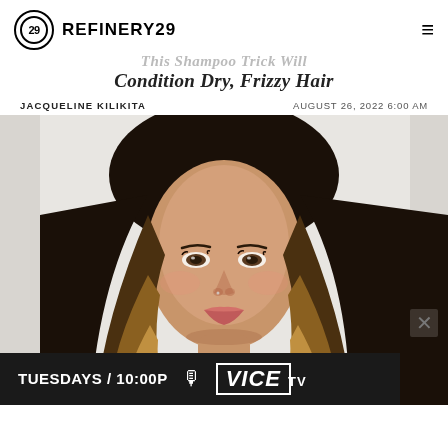REFINERY29
This Shampoo Trick Will Condition Dry, Frizzy Hair
JACQUELINE KILIKITA    AUGUST 26, 2022 6:00 AM
[Figure (photo): Close-up portrait of a young woman with long ombre hair (dark roots fading to golden blonde), wearing natural makeup with pink lips, photographed against a light background. She is looking slightly off-camera.]
TUESDAYS / 10:00P  VICE TV